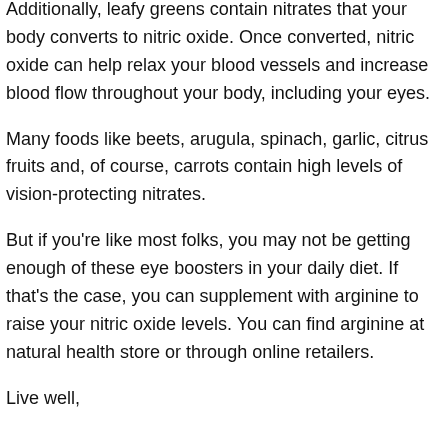Additionally, leafy greens contain nitrates that your body converts to nitric oxide. Once converted, nitric oxide can help relax your blood vessels and increase blood flow throughout your body, including your eyes.
Many foods like beets, arugula, spinach, garlic, citrus fruits and, of course, carrots contain high levels of vision-protecting nitrates.
But if you're like most folks, you may not be getting enough of these eye boosters in your daily diet. If that's the case, you can supplement with arginine to raise your nitric oxide levels. You can find arginine at natural health store or through online retailers.
Live well,